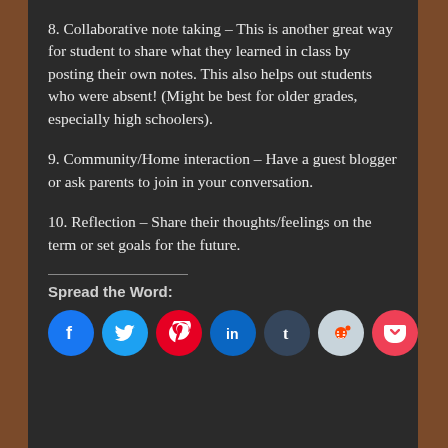8. Collaborative note taking – This is another great way for student to share what they learned in class by posting their own notes. This also helps out students who were absent! (Might be best for older grades, especially high schoolers).
9. Community/Home interaction – Have a guest blogger or ask parents to join in your conversation.
10. Reflection – Share their thoughts/feelings on the term or set goals for the future.
Spread the Word:
[Figure (infographic): Social sharing buttons: Facebook, Twitter, Pinterest, LinkedIn, Tumblr, Reddit, Pocket, and More]